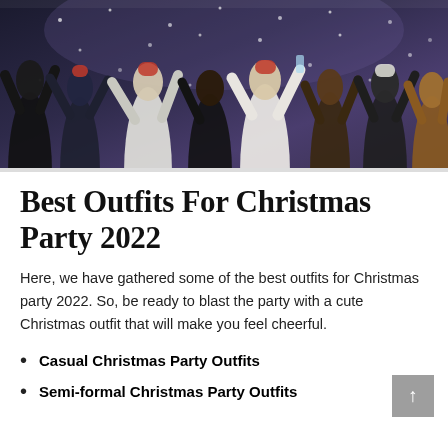[Figure (photo): Group of young people celebrating at a Christmas party, wearing Santa hats, raising glasses and confetti falling around them in a dark venue.]
Best Outfits For Christmas Party 2022
Here, we have gathered some of the best outfits for Christmas party 2022. So, be ready to blast the party with a cute Christmas outfit that will make you feel cheerful.
Casual Christmas Party Outfits
Semi-formal Christmas Party Outfits